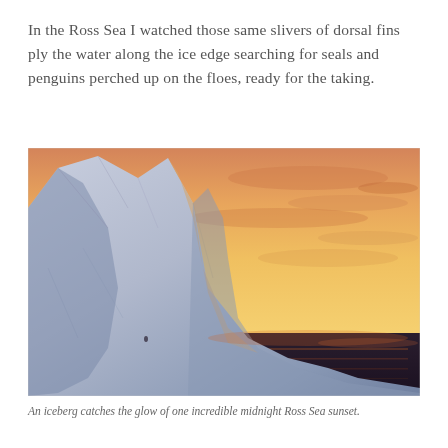In the Ross Sea I watched those same slivers of dorsal fins ply the water along the ice edge searching for seals and penguins perched up on the floes, ready for the taking.
[Figure (photo): An iceberg photographed at sunset in the Ross Sea. The massive white and blue-shadowed iceberg dominates the left and center of the image, rising dramatically against a warm orange and pink sunset sky. The dark water of the Ross Sea is visible in the foreground.]
An iceberg catches the glow of one incredible midnight Ross Sea sunset.